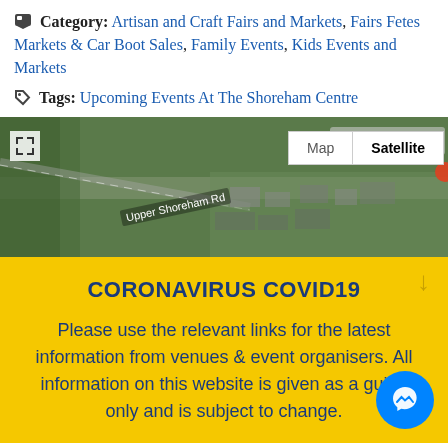Category: Artisan and Craft Fairs and Markets, Fairs Fetes Markets & Car Boot Sales, Family Events, Kids Events and Markets
Tags: Upcoming Events At The Shoreham Centre
[Figure (map): Google Maps satellite view showing Upper Shoreham Rd area with Map/Satellite toggle buttons and expand icon]
CORONAVIRUS COVID19
Please use the relevant links for the latest information from venues & event organisers. All information on this website is given as a guide only and is subject to change.